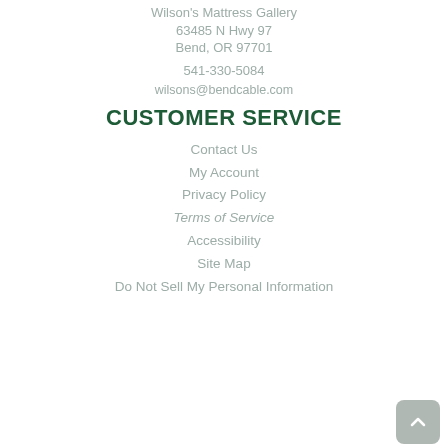Wilson's Mattress Gallery
63485 N Hwy 97
Bend, OR 97701
541-330-5084
wilsons@bendcable.com
CUSTOMER SERVICE
Contact Us
My Account
Privacy Policy
Terms of Service
Accessibility
Site Map
Do Not Sell My Personal Information